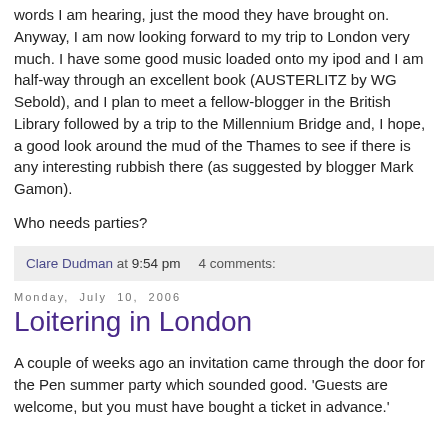words I am hearing, just the mood they have brought on. Anyway, I am now looking forward to my trip to London very much. I have some good music loaded onto my ipod and I am half-way through an excellent book (AUSTERLITZ by WG Sebold), and I plan to meet a fellow-blogger in the British Library followed by a trip to the Millennium Bridge and, I hope, a good look around the mud of the Thames to see if there is any interesting rubbish there (as suggested by blogger Mark Gamon).
Who needs parties?
Clare Dudman at 9:54 pm   4 comments:
Monday, July 10, 2006
Loitering in London
A couple of weeks ago an invitation came through the door for the Pen summer party which sounded good. 'Guests are welcome, but you must have bought a ticket in advance.'